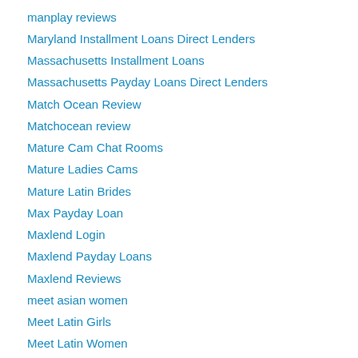manplay reviews
Maryland Installment Loans Direct Lenders
Massachusetts Installment Loans
Massachusetts Payday Loans Direct Lenders
Match Ocean Review
Matchocean review
Mature Cam Chat Rooms
Mature Ladies Cams
Mature Latin Brides
Max Payday Loan
Maxlend Login
Maxlend Payday Loans
Maxlend Reviews
meet asian women
Meet Latin Girls
Meet Latin Women
Meet Mindful Review